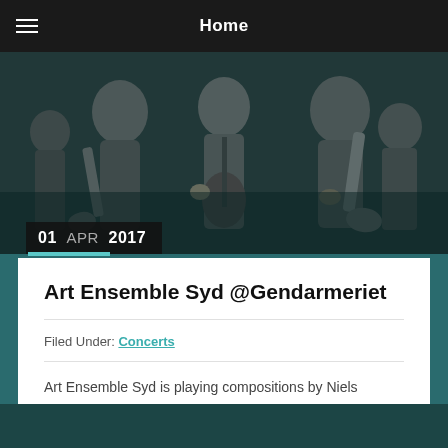Home
[Figure (photo): Black and white photo of musicians playing saxophones and guitar at a concert]
01 APR 2017
Art Ensemble Syd @Gendarmeriet
Filed Under: Concerts
Art Ensemble Syd is playing compositions by Niels Præstholm at Gendarmeriet in Rinkenæs. Gendarmeriet is a new local music venue[...]